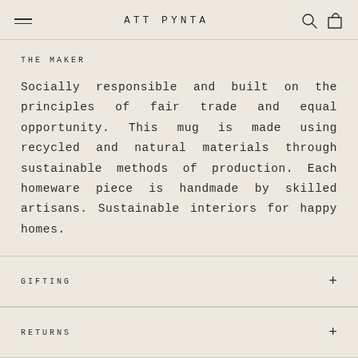ATT PYNTA
THE MAKER
Socially responsible and built on the principles of fair trade and equal opportunity. This mug is made using recycled and natural materials through sustainable methods of production. Each homeware piece is handmade by skilled artisans. Sustainable interiors for happy homes.
GIFTING
RETURNS